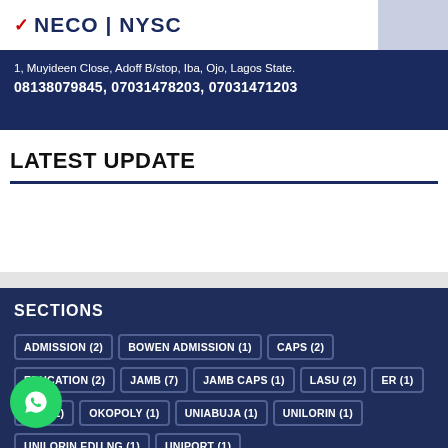[Figure (illustration): School/tutorial center banner showing NECO | NYSC with checkmark, address and phone numbers on dark blue background]
LATEST UPDATE
SECTIONS
ADMISSION (2)
BOWEN ADMISSION (1)
CAPS (2)
EDUCATION (2)
JAMB (7)
JAMB CAPS (1)
LASU (2)
ER (1)
NDA (1)
OKOPOLY (1)
UNIABUJA (1)
UNILORIN (1)
UNILORIN.EDU.NG (1)
UNIPORT (1)